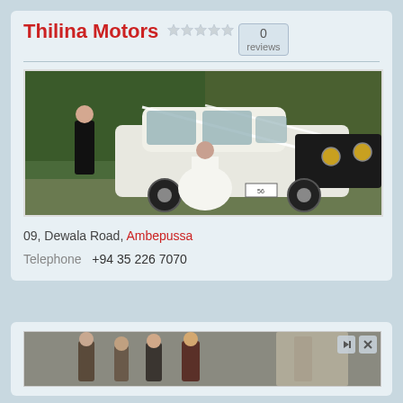Thilina Motors
0 reviews
[Figure (photo): Wedding couple posing with a vintage white classic car decorated with white ribbons, outdoors near trees]
09, Dewala Road, Ambepussa
Telephone  +94 35 226 7070
[Figure (photo): Advertisement image showing a group of people, partially visible at bottom of page]